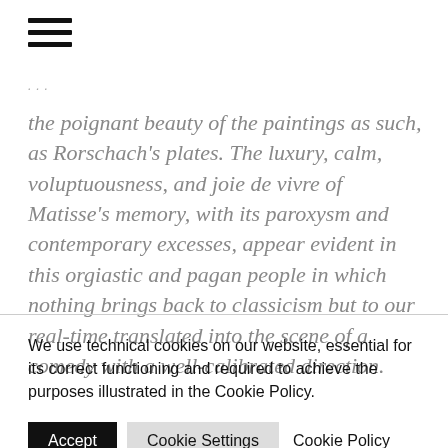[Figure (other): Hamburger menu icon (three horizontal lines)]
the poignant beauty of the paintings as such, as Rorschach's plates. The luxury, calm, voluptuousness, and joie de vivre of Matisse's memory, with its paroxysm and contemporary excesses, appear evident in this orgiastic and pagan people in which nothing brings back to classicism but to our real-time translated into the scene of a comedy with a well-calibrated direction.
We use technical cookies on our website, essential for its correct functioning and required to achieve the purposes illustrated in the Cookie Policy.
Accept   Cookie Settings   Cookie Policy